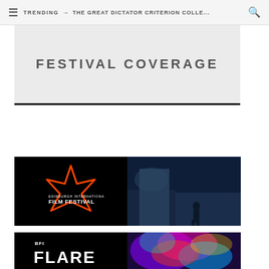TRENDING → THE GREAT DICTATOR CRITERION COLLE...
FESTIVAL COVERAGE
[Figure (logo): Edinburgh International Film Festival logo with orange star outline on black background, split image with dark blue scene of a figure standing in an architectural space]
[Figure (logo): BFI Flare logo on black background with colorful neon abstract image on the right half]